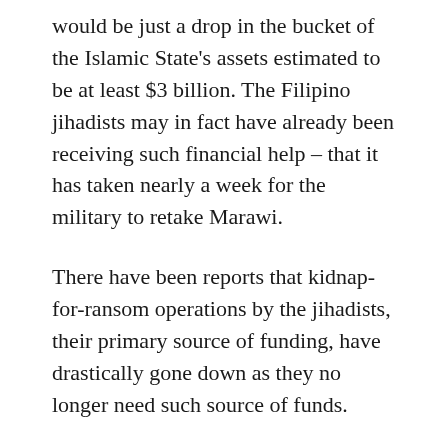would be just a drop in the bucket of the Islamic State's assets estimated to be at least $3 billion. The Filipino jihadists may in fact have already been receiving such financial help – that it has taken nearly a week for the military to retake Marawi.
There have been reports that kidnap-for-ransom operations by the jihadists, their primary source of funding, have drastically gone down as they no longer need such source of funds.
Secondly, with the Islamic State increasingly under pressure by US forces in the Middle East, its cadres could decide to focus on Southeast Asia, particularly in the shared border areas of the Muslim-led